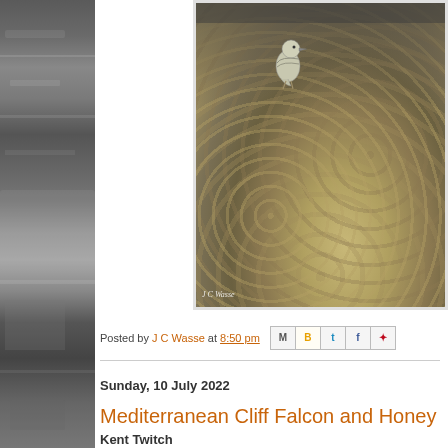[Figure (photo): Grayscale sidebar image showing a seascape/coastal scene with water and rocky shore]
[Figure (photo): Photograph of a seagull standing on a pebble beach, with gravel and stones in the foreground. Watermark reads 'J C Wasse' at bottom left.]
Posted by J C Wasse at 8:50 pm
Sunday, 10 July 2022
Mediterranean Cliff Falcon and Honey
Kent Twitch